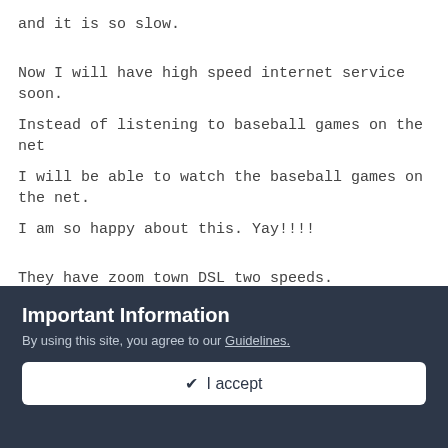and it is so slow.
Now I will have high speed internet service soon.
Instead of listening to baseball games on the net
I will be able to watch the baseball games on the net.
I am so happy about this. Yay!!!!
They have zoom town DSL two speeds.
The one megahertz speed a second
Important Information
By using this site, you agree to our Guidelines.
✔ I accept